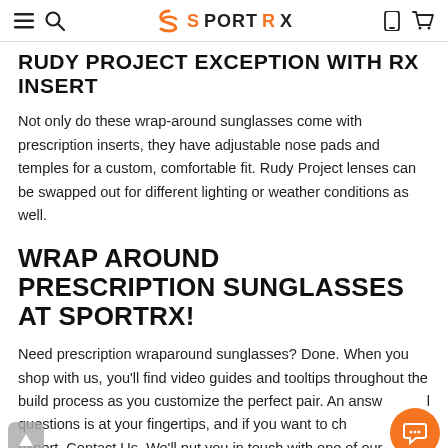SportRx — navigation bar with hamburger menu, search, logo, phone, and cart icons
RUDY PROJECT EXCEPTION WITH RX INSERT
Not only do these wrap-around sunglasses come with prescription inserts, they have adjustable nose pads and temples for a custom, comfortable fit. Rudy Project lenses can be swapped out for different lighting or weather conditions as well.
WRAP AROUND PRESCRIPTION SUNGLASSES AT SPORTRX!
Need prescription wraparound sunglasses? Done. When you shop with us, you'll find video guides and tooltips throughout the build process as you customize the perfect pair. An answer to all questions is at your fingertips, and if you want to chat with an expert, Contact Us. We'll put you in touch with one of our